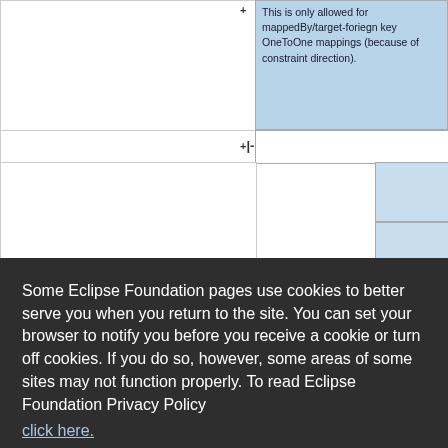[Figure (screenshot): Background: partial view of a wiki/table page showing a cell with text 'This is only allowed for mappedBy/target-foriegn key OneToOne mappings (because of constraint direction).' and a row with '+|-' marker]
Some Eclipse Foundation pages use cookies to better serve you when you return to the site. You can set your browser to notify you before you receive a cookie or turn off cookies. If you do so, however, some areas of some sites may not function properly. To read Eclipse Foundation Privacy Policy click here.
Decline
Allow cookies